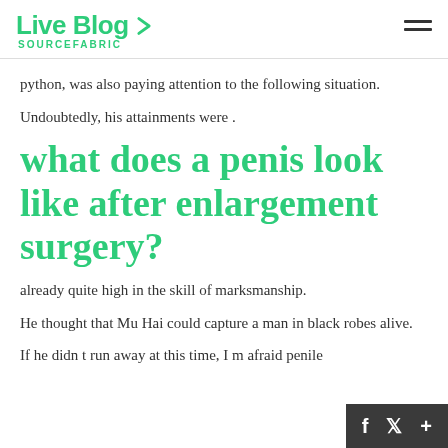Live Blog SOURCEFABRIC
python, was also paying attention to the following situation.
Undoubtedly, his attainments were .
what does a penis look like after enlargement surgery?
already quite high in the skill of marksmanship.
He thought that Mu Hai could capture a man in black robes alive.
If he didn t run away at this time, I m afraid penile